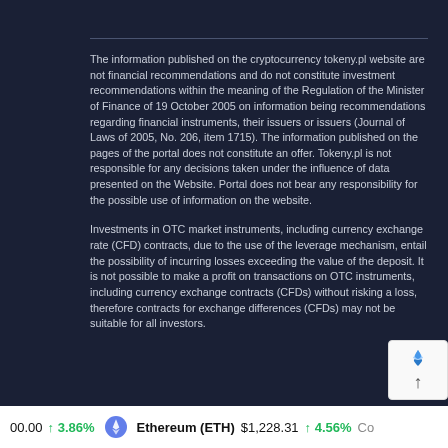The information published on the cryptocurrency tokeny.pl website are not financial recommendations and do not constitute investment recommendations within the meaning of the Regulation of the Minister of Finance of 19 October 2005 on information being recommendations regarding financial instruments, their issuers or issuers (Journal of Laws of 2005, No. 206, item 1715). The information published on the pages of the portal does not constitute an offer. Tokeny.pl is not responsible for any decisions taken under the influence of data presented on the Website. Portal does not bear any responsibility for the possible use of information on the website.
Investments in OTC market instruments, including currency exchange rate (CFD) contracts, due to the use of the leverage mechanism, entail the possibility of incurring losses exceeding the value of the deposit. It is not possible to make a profit on transactions on OTC instruments, including currency exchange contracts (CFDs) without risking a loss, therefore contracts for exchange differences (CFDs) may not be suitable for all investors.
00.00 ↑ 3.86%   Ethereum (ETH)  $1,228.31 ↑ 4.56%   Co